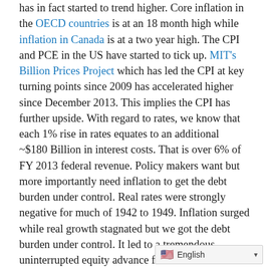has in fact started to trend higher. Core inflation in the OECD countries is at an 18 month high while inflation in Canada is at a two year high. The CPI and PCE in the US have started to tick up. MIT's Billion Prices Project which has led the CPI at key turning points since 2009 has accelerated higher since December 2013. This implies the CPI has further upside. With regard to rates, we know that each 1% rise in rates equates to an additional ~$180 Billion in interest costs. That is over 6% of FY 2013 federal revenue. Policy makers want but more importantly need inflation to get the debt burden under control. Real rates were strongly negative for much of 1942 to 1949. Inflation surged while real growth stagnated but we got the debt burden under control. It led to a tremendous uninterrupted equity advance from 1949 to 1956. However, that was after a rip roaring advance in hard assets.

Hopefully this missive cut through both the bull and bear BS on Gold. Gold bugs will sham... ng so bullish while gold bears will m...